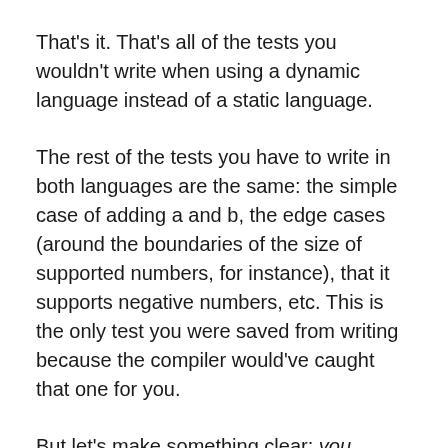That's it. That's all of the tests you wouldn't write when using a dynamic language instead of a static language.
The rest of the tests you have to write in both languages are the same: the simple case of adding a and b, the edge cases (around the boundaries of the size of supported numbers, for instance), that it supports negative numbers, etc. This is the only test you were saved from writing because the compiler would've caught that one for you.
But let's make something clear: you shouldn't be writing that test in a dynamic language, either. It has nothing to do with the behaviour that the software will have, and the purpose of writing tests is to demonstrate that your program